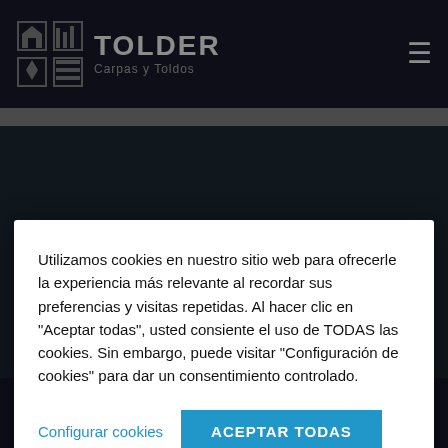TOLDER Carpas y Toldos
[Figure (screenshot): Cookie consent modal dialog overlaid on the Tolder website with dark background. The dialog contains Spanish cookie consent text and two buttons: 'Configurar cookies' and 'ACEPTAR TODAS'. Below the modal are partially visible page elements including 'DO YOU WANT TO ATTACH A PHOTO OR SKETCH?' text and a bottom navigation bar with 'ASK FOR A BUDGET' button and phone icon button.]
Utilizamos cookies en nuestro sitio web para ofrecerle la experiencia más relevante al recordar sus preferencias y visitas repetidas. Al hacer clic en "Aceptar todas", usted consiente el uso de TODAS las cookies. Sin embargo, puede visitar "Configuración de cookies" para dar un consentimiento controlado.
Configurar cookies
ACEPTAR TODAS
DO YOU WANT TO ATTACH A PHOTO OR SKETCH?
ASK FOR A BUDGET